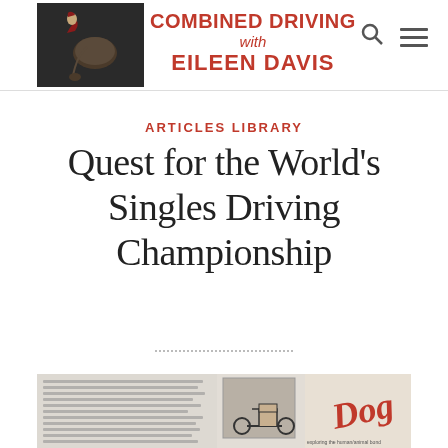Combined Driving with Eileen Davis
ARTICLES LIBRARY
Quest for the World’s Singles Driving Championship
[Figure (photo): Scanned magazine or newsletter article page about Combined Driving, featuring text columns and a photo of a horse-drawn carriage with driver, alongside what appears to be a 'Dog' magazine or book cover in red and white.]